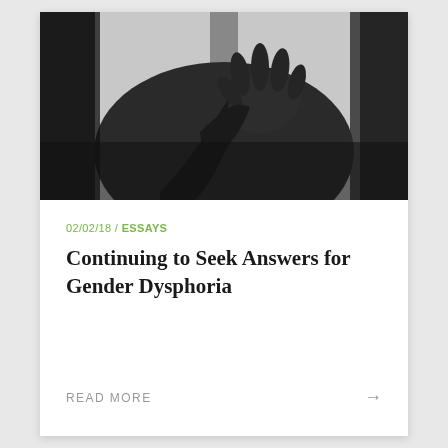[Figure (photo): Black and white photograph of a hand reaching outward toward the viewer against a window background with dark vertical frames]
02/02/18 / ESSAYS
Continuing to Seek Answers for Gender Dysphoria
READ MORE →